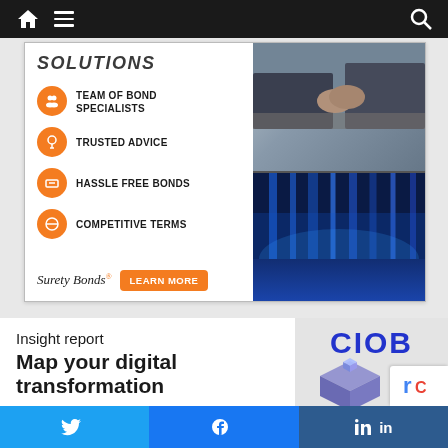[Figure (screenshot): Navigation bar with home icon, hamburger menu, and search icon on dark background]
[Figure (infographic): Surety Bonds advertisement with solutions list (Team of Bond Specialists, Trusted Advice, Hassle Free Bonds, Competitive Terms) and photo collage of business handshake and city lights]
[Figure (screenshot): CIOB Insight report section: 'Map your digital transformation' with CIOB logo and 3D graphic]
[Figure (infographic): Social share buttons: Twitter, Facebook, LinkedIn]